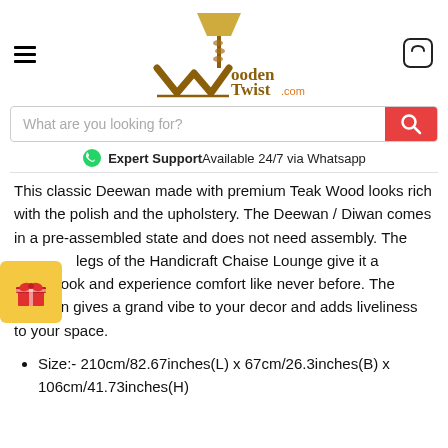WoodenTwist.com
What are you looking for?
Expert Support Available 24/7 via Whatsapp
This classic Deewan made with premium Teak Wood looks rich with the polish and the upholstery. The Deewan / Diwan comes in a pre-assembled state and does not need assembly. The delightful legs of the Handicraft Chaise Lounge give it a magnificent look and experience comfort like never before. The Deewan gives a grand vibe to your decor and adds liveliness to your space.
Size:- 210cm/82.67inches(L) x 67cm/26.3inches(B) x 106cm/41.73inches(H)